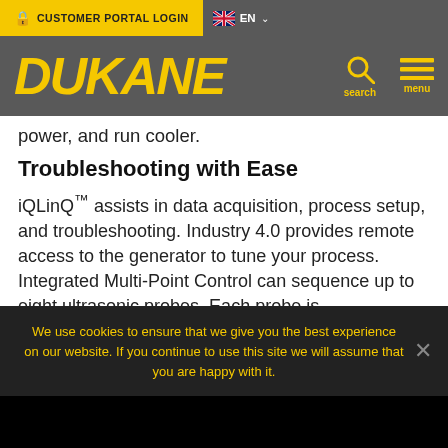CUSTOMER PORTAL LOGIN  EN
[Figure (logo): Dukane logo in yellow italic bold text on gray background, with search and menu icons]
power, and run cooler.
Troubleshooting with Ease
iQLinQ™ assists in data acquisition, process setup, and troubleshooting. Industry 4.0 provides remote access to the generator to tune your process. Integrated Multi-Point Control can sequence up to eight ultrasonic probes. Each probe is independently controlled and monitored allowing
We use cookies to ensure that we give you the best experience on our website. If you continue to use this site we will assume that you are happy with it.